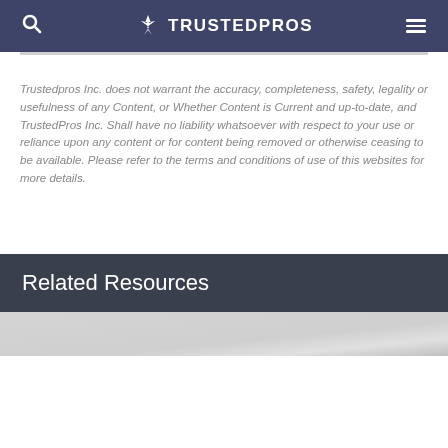TRUSTEDPROS
Trustedpros Inc. does not warrant the accuracy, completeness, safety, legality or usefulness of any Content, or Whether Content is Current and up-to-date, and TrustedPros Inc. Shall have no liability whatsoever with respect to your use or reliance upon any content or for content being removed or otherwise ceasing to be available. Please refer to the terms and conditions of use of this websites for more details.
Related Resources
[Figure (photo): Gray interior room image strip at bottom of page]